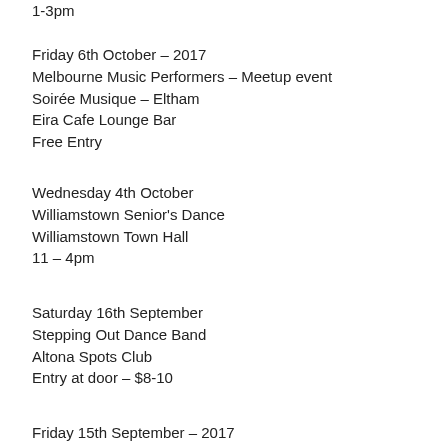1-3pm
Friday 6th October – 2017
Melbourne Music Performers – Meetup event
Soirée Musique – Eltham
Eira Cafe Lounge Bar
Free Entry
Wednesday 4th October
Williamstown Senior's Dance
Williamstown Town Hall
11 – 4pm
Saturday 16th September
Stepping Out Dance Band
Altona Spots Club
Entry at door – $8-10
Friday 15th September – 2017